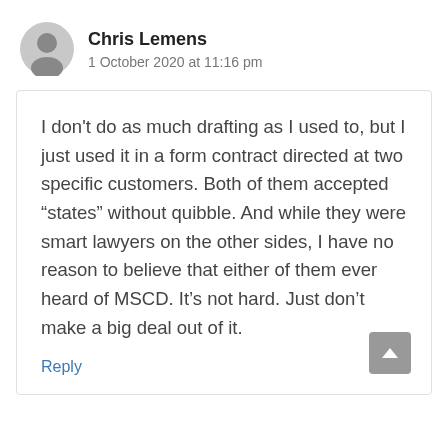Chris Lemens
1 October 2020 at 11:16 pm
I don't do as much drafting as I used to, but I just used it in a form contract directed at two specific customers. Both of them accepted “states” without quibble. And while they were smart lawyers on the other sides, I have no reason to believe that either of them ever heard of MSCD. It’s not hard. Just don’t make a big deal out of it.
Reply